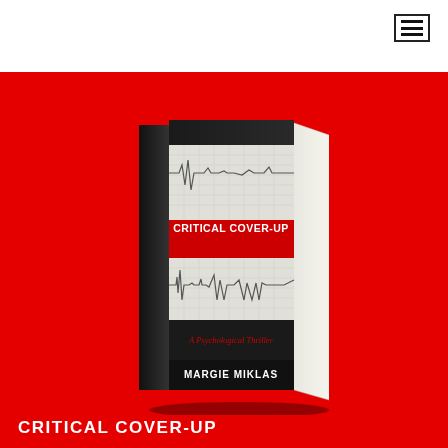[Figure (illustration): 3D book cover of 'Critical Cover-Up: A Psychological Thriller' by Margie Miklas. The book has a black cover with an EKG/heartbeat monitor strip design in white/grey across the middle. The title 'CRITICAL COVER-UP' is in bold red text on a black banner. Below is 'A Psychological Thriller' in red cursive text. The author name 'MARGIE MIKLAS' appears at the bottom in white text. The book is shown in a 3D perspective against a bright red background.]
CRITICAL COVER-UP